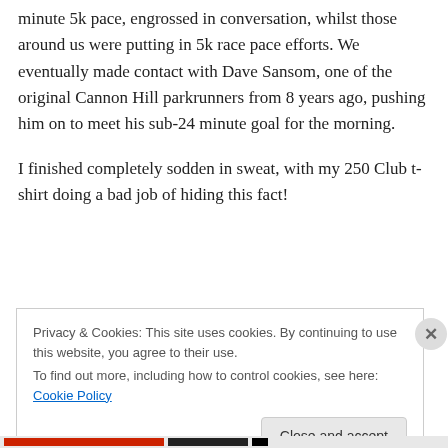minute 5k pace, engrossed in conversation, whilst those around us were putting in 5k race pace efforts. We eventually made contact with Dave Sansom, one of the original Cannon Hill parkrunners from 8 years ago, pushing him on to meet his sub-24 minute goal for the morning.
I finished completely sodden in sweat, with my 250 Club t-shirt doing a bad job of hiding this fact!
Privacy & Cookies: This site uses cookies. By continuing to use this website, you agree to their use.
To find out more, including how to control cookies, see here: Cookie Policy